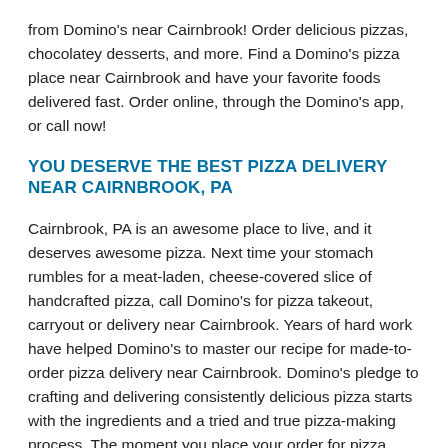from Domino's near Cairnbrook! Order delicious pizzas, chocolatey desserts, and more. Find a Domino's pizza place near Cairnbrook and have your favorite foods delivered fast. Order online, through the Domino's app, or call now!
YOU DESERVE THE BEST PIZZA DELIVERY NEAR CAIRNBROOK, PA
Cairnbrook, PA is an awesome place to live, and it deserves awesome pizza. Next time your stomach rumbles for a meat-laden, cheese-covered slice of handcrafted pizza, call Domino's for pizza takeout, carryout or delivery near Cairnbrook. Years of hard work have helped Domino's to master our recipe for made-to-order pizza delivery near Cairnbrook. Domino's pledge to crafting and delivering consistently delicious pizza starts with the ingredients and a tried and true pizza-making process. The moment you place your order for pizza carryout or delivery near Cairnbrook, your local Domino's jumps into action. Your Brooklyn-style, hand-tossed, crunchy thin crust, or gluten-free crust pizza dough is prepared and smothered in the sauce of your choice. You can play it simple with a classic marinara or venture into new taste territory with garlic parmesan white sauce, Alfredo sauce, or